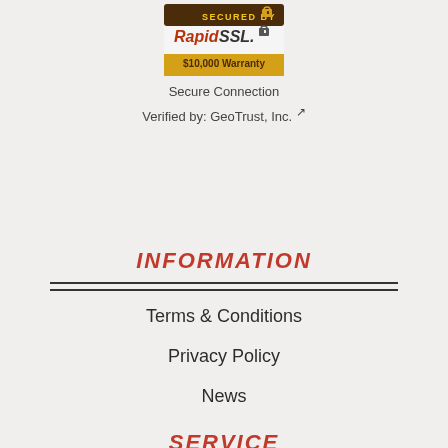[Figure (logo): RapidSSL Secured By badge with $10,000 Warranty text on gold/brown background]
Secure Connection
Verified by: GeoTrust, Inc. ↗
INFORMATION
Terms & Conditions
Privacy Policy
News
SERVICE
Contact Us
Financing
Site Map